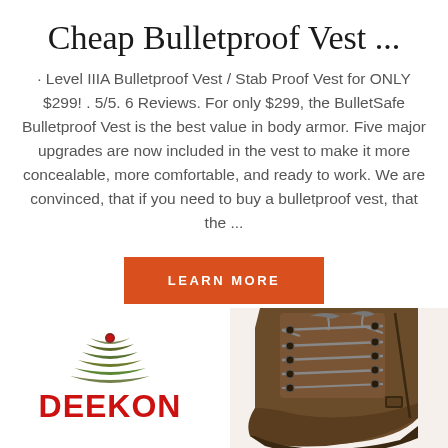Cheap Bulletproof Vest ...
Level IIIA Bulletproof Vest / Stab Proof Vest for ONLY $299! . 5/5. 6 Reviews. For only $299, the BulletSafe Bulletproof Vest is the best value in body armor. Five major upgrades are now included in the vest to make it more concealable, more comfortable, and ready to work. We are convinced, that if you need to buy a bulletproof vest, that the ...
[Figure (other): Orange 'LEARN MORE' button]
[Figure (logo): DEEKON logo with olive/camo chevron design above red bold text 'DEEKON']
[Figure (photo): Close-up photo of a brown lace-up military/tactical boot showing the toe and lacing area]